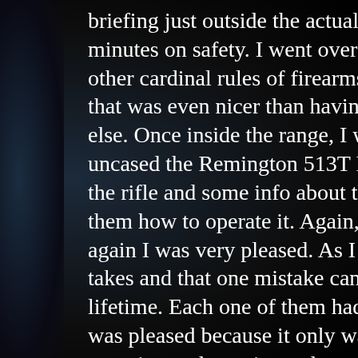briefing just outside the actual range. I minutes on safety. I went over the so ca other cardinal rules of firearms' safety. that was even nicer than having my ran else. Once inside the range, I went over uncased the Remington 513T Matchma the rifle and some info about the ammo them how to operate it. Again, all three again I was very pleased. As I explaine takes and that one mistake can end a lif lifetime. Each one of them had some pe was pleased because it only was more e attention and wanting to learn.